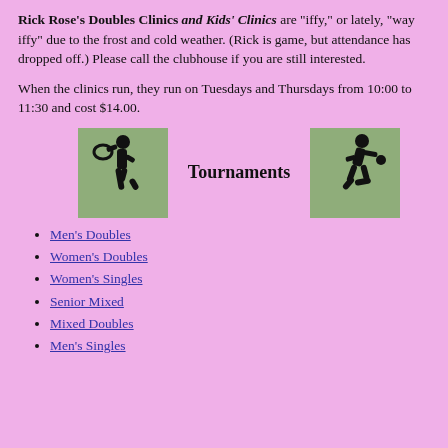Rick Rose's Doubles Clinics and Kids' Clinics are "iffy," or lately, "way iffy" due to the frost and cold weather. (Rick is game, but attendance has dropped off.) Please call the clubhouse if you are still interested.
When the clinics run, they run on Tuesdays and Thursdays from 10:00 to 11:30 and cost $14.00.
[Figure (illustration): Tennis player silhouette on green background]
Tournaments
[Figure (illustration): Tennis player kneeling silhouette on green background]
Men's Doubles
Women's Doubles
Women's Singles
Senior Mixed
Mixed Doubles
Men's Singles